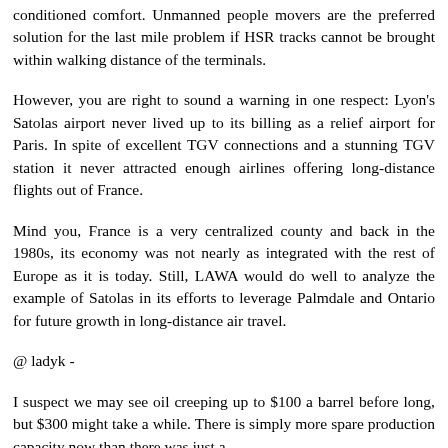conditioned comfort. Unmanned people movers are the preferred solution for the last mile problem if HSR tracks cannot be brought within walking distance of the terminals.
However, you are right to sound a warning in one respect: Lyon's Satolas airport never lived up to its billing as a relief airport for Paris. In spite of excellent TGV connections and a stunning TGV station it never attracted enough airlines offering long-distance flights out of France.
Mind you, France is a very centralized county and back in the 1980s, its economy was not nearly as integrated with the rest of Europe as it is today. Still, LAWA would do well to analyze the example of Satolas in its efforts to leverage Palmdale and Ontario for future growth in long-distance air travel.
@ ladyk -
I suspect we may see oil creeping up to $100 a barrel before long, but $300 might take a while. There is simply more spare production capacity now than there was just a